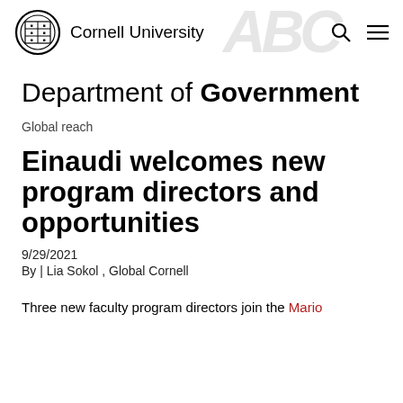Cornell University
Department of Government
Global reach
Einaudi welcomes new program directors and opportunities
9/29/2021
By | Lia Sokol , Global Cornell
Three new faculty program directors join the Mario